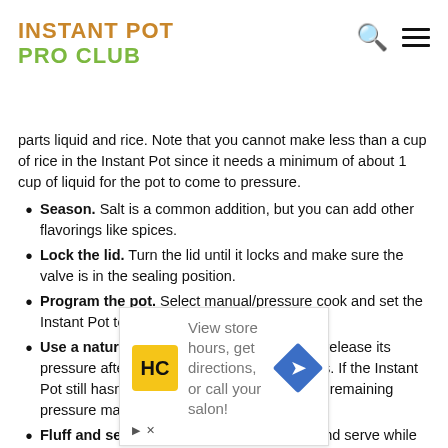INSTANT POT PRO CLUB
parts liquid and rice. Note that you cannot make less than a cup of rice in the Instant Pot since it needs a minimum of about 1 cup of liquid for the pot to come to pressure.
Season. Salt is a common addition, but you can add other flavorings like spices.
Lock the lid. Turn the lid until it locks and make sure the valve is in the sealing position.
Program the pot. Select manual/pressure cook and set the Instant Pot to 3 minutes at high pressure.
Use a natural release. Let the pot naturally release its pressure after cooking for at least 10 minutes. If the Instant Pot still hasn't unlocked, you can release the remaining pressure manually.
Fluff and serve. Use a fork to fluff the rice and serve while
[Figure (infographic): Advertisement box with Hairclub (HC) logo and text: View store hours, get directions, or call your salon! with a blue navigation arrow icon.]